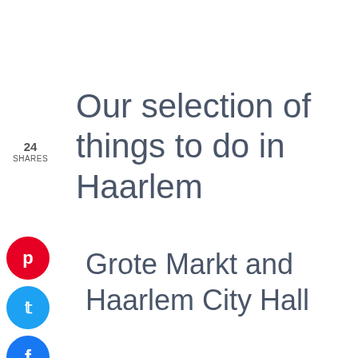Our selection of things to do in Haarlem
24 SHARES
[Figure (infographic): Social share buttons: Pinterest (red circle with p icon), Twitter (blue circle with bird/t icon), Facebook (dark blue circle with f icon)]
Grote Markt and Haarlem City Hall